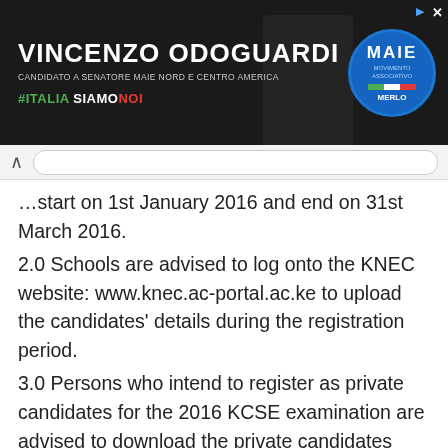[Figure (other): Advertisement banner for Vincenzo Odoguardi, MAIE political candidate for Senate, North and Central America. Dark background with white text, Italian flag colors, MAIE logo badge.]
start on 1st January 2016 and end on 31st March 2016.
2.0 Schools are advised to log onto the KNEC website: www.knec.ac-portal.ac.ke to upload the candidates' details during the registration period.
3.0 Persons who intend to register as private candidates for the 2016 KCSE examination are advised to download the private candidates registration form from the KNEC website www.knec.ac.ke, fill it and submit it to the Sub County Education Officer for further guidance during the registration period.
4.0 Students intending to register as private candidates are asked to carefully read the